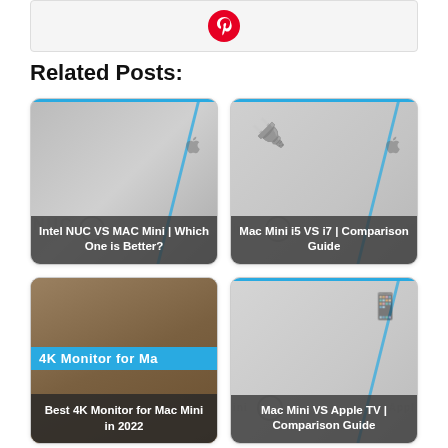[Figure (other): Pinterest icon/logo in red circle at top of page]
Related Posts:
[Figure (other): Related post card: Intel NUC VS MAC Mini | Which One is Better?]
[Figure (other): Related post card: Mac Mini i5 VS i7 | Comparison Guide]
[Figure (other): Related post card: Best 4K Monitor for Mac Mini in 2022]
[Figure (other): Related post card: Mac Mini VS Apple TV | Comparison Guide]